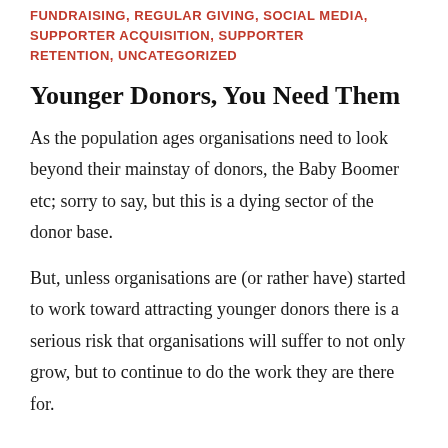FUNDRAISING, REGULAR GIVING, SOCIAL MEDIA, SUPPORTER ACQUISITION, SUPPORTER RETENTION, UNCATEGORIZED
Younger Donors, You Need Them
As the population ages organisations need to look beyond their mainstay of donors, the Baby Boomer etc; sorry to say, but this is a dying sector of the donor base.
But, unless organisations are (or rather have) started to work toward attracting younger donors there is a serious risk that organisations will suffer to not only grow, but to continue to do the work they are there for.